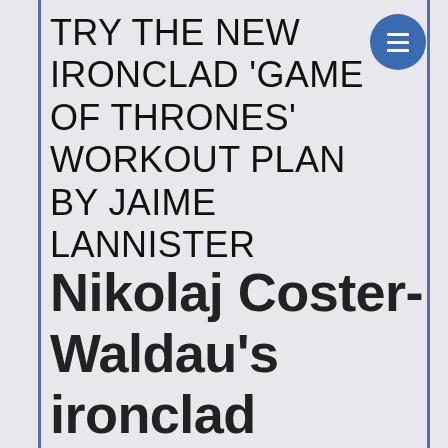TRY THE NEW IRONCLAD 'GAME OF THRONES' WORKOUT PLAN BY JAIME LANNISTER
Nikolaj Coster-Waldau's ironclad 'Game of Thrones'